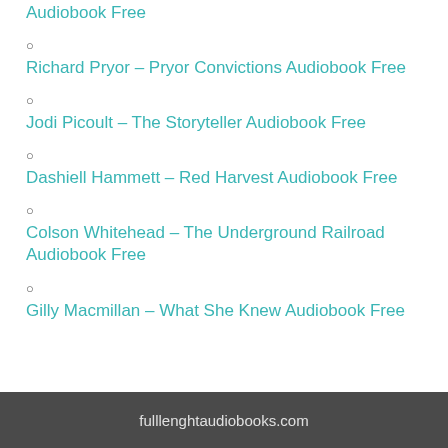Audiobook Free
Richard Pryor – Pryor Convictions Audiobook Free
Jodi Picoult – The Storyteller Audiobook Free
Dashiell Hammett – Red Harvest Audiobook Free
Colson Whitehead – The Underground Railroad Audiobook Free
Gilly Macmillan – What She Knew Audiobook Free
fulllenthaudiobooks.com